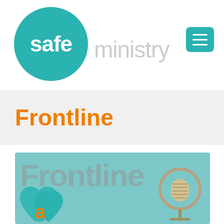[Figure (logo): Safe Ministry logo: teal circle with white bold 'safe' text, followed by gray lightweight 'ministry' text, with teal hamburger menu button top-right]
Frontline
[Figure (illustration): Frontline podcast/newsletter cover image: teal background with large gray 'Frontline' text, teal heart shapes on left with orange letter 'a', and a vintage microphone on the right]